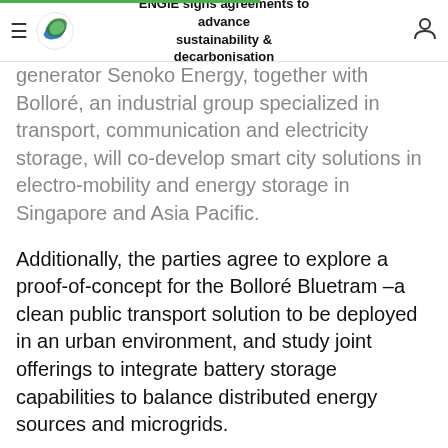ENGIE signs agreements to advance sustainability & decarbonisation
generator Senoko Energy, together with Bolloré, an industrial group specialized in transport, communication and electricity storage, will co-develop smart city solutions in electro-mobility and energy storage in Singapore and Asia Pacific.
Additionally, the parties agree to explore a proof-of-concept for the Bolloré Bluetram –a clean public transport solution to be deployed in an urban environment, and study joint offerings to integrate battery storage capabilities to balance distributed energy sources and microgrids.
As part of the agreement, ENGIE and Bolloré will also explore opportunities in connection to airport services, in which both companies have complementary expertise.